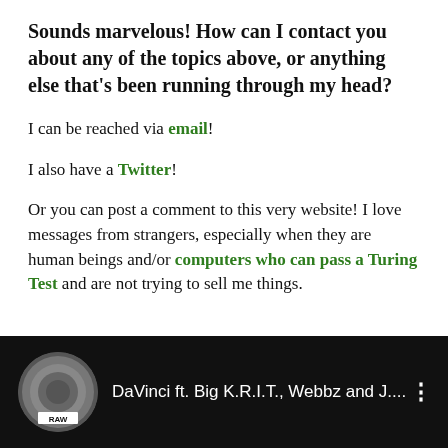Sounds marvelous! How can I contact you about any of the topics above, or anything else that's been running through my head?
I can be reached via email!
I also have a Twitter!
Or you can post a comment to this very website! I love messages from strangers, especially when they are human beings and/or computers who can pass a Turing Test and are not trying to sell me things.
[Figure (screenshot): YouTube video bar showing thumbnail with RAW badge and title 'DaVinci ft. Big K.R.I.T., Webbz and J....' with three-dot menu icon on black background]